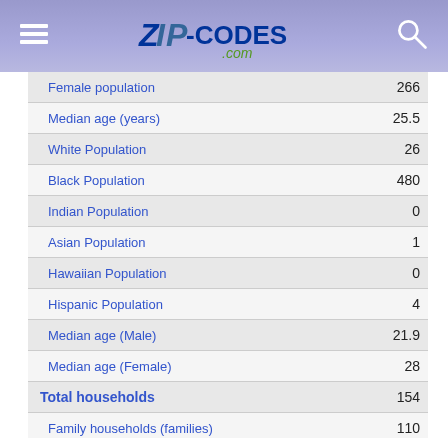Zip-Codes.com
| Category | Value |
| --- | --- |
| Female population | 266 |
| Median age (years) | 25.5 |
| White Population | 26 |
| Black Population | 480 |
| Indian Population | 0 |
| Asian Population | 1 |
| Hawaiian Population | 0 |
| Hispanic Population | 4 |
| Median age (Male) | 21.9 |
| Median age (Female) | 28 |
| Total households | 154 |
| Family households (families) | 110 |